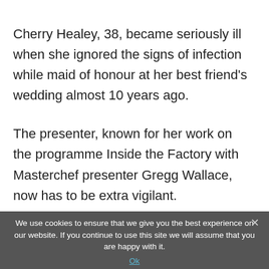Cherry Healey, 38, became seriously ill when she ignored the signs of infection while maid of honour at her best friend's wedding almost 10 years ago.
The presenter, known for her work on the programme Inside the Factory with Masterchef presenter Gregg Wallace, now has to be extra vigilant.
And she says the UTIs which have plagued her
We use cookies to ensure that we give you the best experience on our website. If you continue to use this site we will assume that you are happy with it. Ok